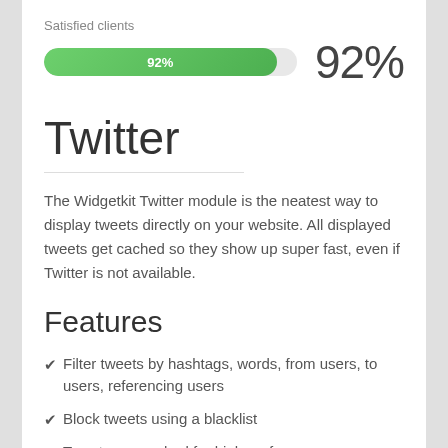[Figure (bar-chart): Satisfied clients]
Twitter
The Widgetkit Twitter module is the neatest way to display tweets directly on your website. All displayed tweets get cached so they show up super fast, even if Twitter is not available.
Features
Filter tweets by hashtags, words, from users, to users, referencing users
Block tweets using a blacklist
Tweets are cached for high performance
Tweets show up even if Twitter is not available